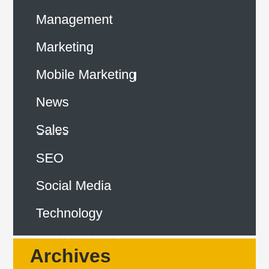Management
Marketing
Mobile Marketing
News
Sales
SEO
Social Media
Technology
Uncategorized
Video Marketing
Archives